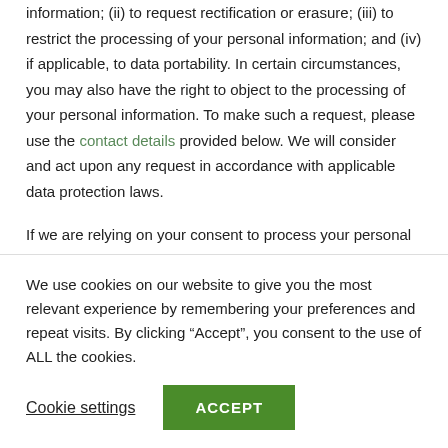information; (ii) to request rectification or erasure; (iii) to restrict the processing of your personal information; and (iv) if applicable, to data portability. In certain circumstances, you may also have the right to object to the processing of your personal information. To make such a request, please use the contact details provided below. We will consider and act upon any request in accordance with applicable data protection laws.
If we are relying on your consent to process your personal information, you have the right to withdraw your consent at any time. Please note however that this will not affect the lawfulness of the processing before its withdrawal.
We use cookies on our website to give you the most relevant experience by remembering your preferences and repeat visits. By clicking “Accept”, you consent to the use of ALL the cookies.
Cookie settings | ACCEPT